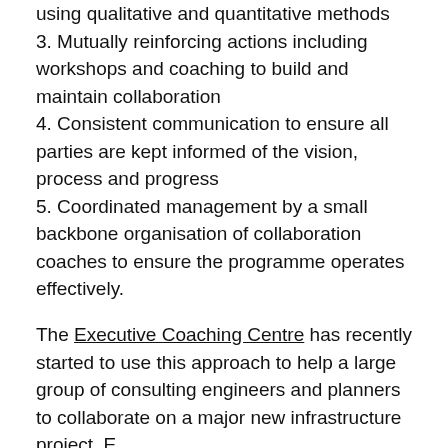using qualitative and quantitative methods
3. Mutually reinforcing actions including workshops and coaching to build and maintain collaboration
4. Consistent communication to ensure all parties are kept informed of the vision, process and progress
5. Coordinated management by a small backbone organisation of collaboration coaches to ensure the programme operates effectively.
The Executive Coaching Centre has recently started to use this approach to help a large group of consulting engineers and planners to collaborate on a major new infrastructure project. E...